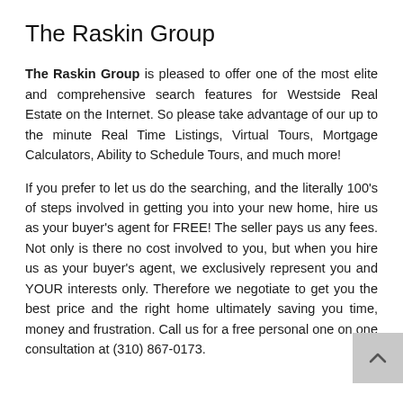The Raskin Group
The Raskin Group is pleased to offer one of the most elite and comprehensive search features for Westside Real Estate on the Internet. So please take advantage of our up to the minute Real Time Listings, Virtual Tours, Mortgage Calculators, Ability to Schedule Tours, and much more!
If you prefer to let us do the searching, and the literally 100's of steps involved in getting you into your new home, hire us as your buyer's agent for FREE! The seller pays us any fees. Not only is there no cost involved to you, but when you hire us as your buyer's agent, we exclusively represent you and YOUR interests only. Therefore we negotiate to get you the best price and the right home ultimately saving you time, money and frustration. Call us for a free personal one on one consultation at (310) 867-0173.